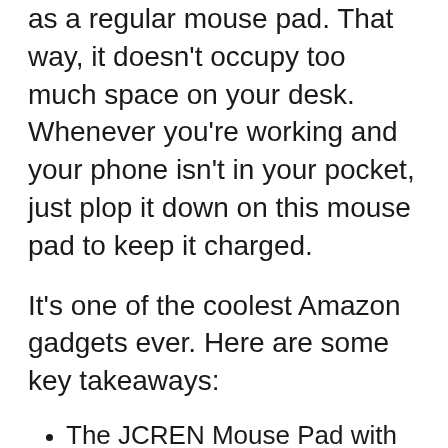as a regular mouse pad. That way, it doesn't occupy too much space on your desk. Whenever you're working and your phone isn't in your pocket, just plop it down on this mouse pad to keep it charged.
It's one of the coolest Amazon gadgets ever. Here are some key takeaways:
The JCREN Mouse Pad with Built-In 10W Fast Wireless Charger is sleek and compact
A 2-in-1 design combines a comfortable and stylish mouse pad with a fast wireless charger
The nonslip finish keeps your smartphone in place while you work